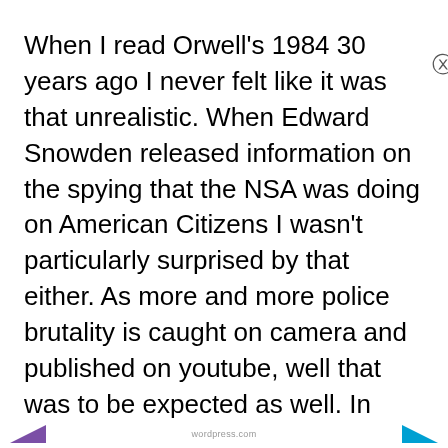When I read Orwell's 1984 30 years ago I never felt like it was that unrealistic. When Edward Snowden released information on the spying that the NSA was doing on American Citizens I wasn't particularly surprised by that either. As more and more police brutality is caught on camera and published on youtube, well that was to be expected as well. In modern times, almost every US citizen has the ability to
Privacy & Cookies: This site uses cookies. By continuing to use this website, you agree to their use.
To find out more, including how to control cookies, see here: Cookie Policy
Close and accept